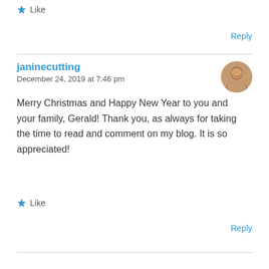★ Like
Reply
janinecutting
December 24, 2019 at 7:46 pm
Merry Christmas and Happy New Year to you and your family, Gerald! Thank you, as always for taking the time to read and comment on my blog. It is so appreciated!
★ Like
Reply